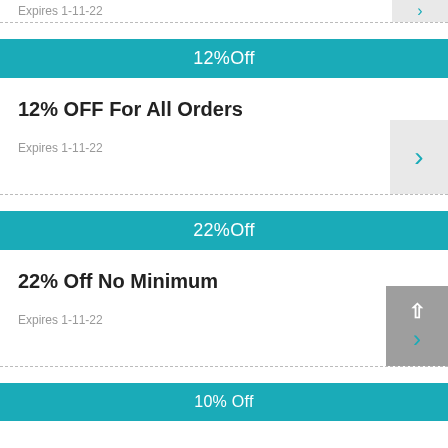Expires 1-11-22
12%Off
12% OFF For All Orders
Expires 1-11-22
22%Off
22% Off No Minimum
Expires 1-11-22
10% Off